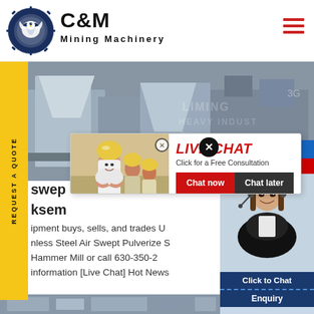[Figure (logo): C&M Mining Machinery logo with eagle in gear icon, navy blue circular emblem, bold black text]
[Figure (photo): Mining machinery industrial background photo with equipment and LIMING HEAVY INDUSTRY watermark text]
REQUEST A QUOTE (vertical side tab, yellow background)
Hours
line
[Figure (photo): Live Chat popup overlay with workers in yellow hardhats photo on left, LIVE CHAT red italic heading, Click for a Free Consultation, Chat now and Chat later buttons]
swept
ksem
ipment buys, sells, and trades U
nless Steel Air Swept Pulverize S
Hammer Mill or call 630-350-2
information [Live Chat] Hot News
[Figure (photo): Customer service agent woman with headset on right side panel with Click to Chat blue button and Enquiry label]
[Figure (photo): Bottom strip showing partial industrial machinery image]